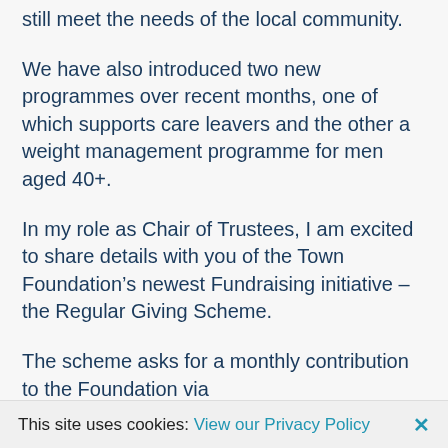still meet the needs of the local community.
We have also introduced two new programmes over recent months, one of which supports care leavers and the other a weight management programme for men aged 40+.
In my role as Chair of Trustees, I am excited to share details with you of the Town Foundation’s newest Fundraising initiative – the Regular Giving Scheme.
The scheme asks for a monthly contribution to the Foundation via
This site uses cookies: View our Privacy Policy ×